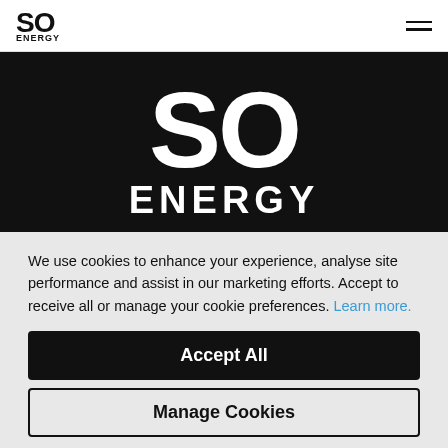SO ENERGY
[Figure (logo): SO Energy large white logo on black background hero area, showing 'SO' in very large bold white lettering and 'ENERGY' below in bold white capitals]
We use cookies to enhance your experience, analyse site performance and assist in our marketing efforts. Accept to receive all or manage your cookie preferences. Learn more.
Accept All
Manage Cookies